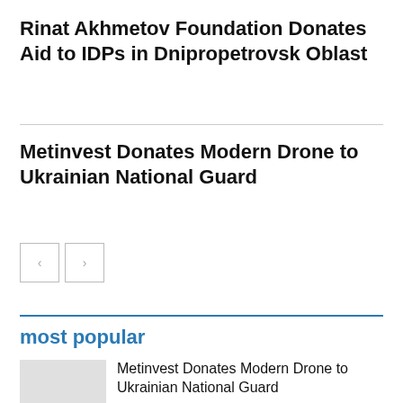Rinat Akhmetov Foundation Donates Aid to IDPs in Dnipropetrovsk Oblast
Metinvest Donates Modern Drone to Ukrainian National Guard
most popular
Metinvest Donates Modern Drone to Ukrainian National Guard